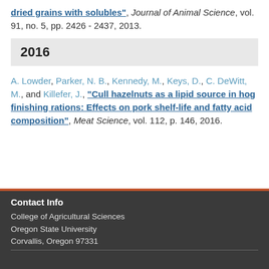dried grains with solubles", Journal of Animal Science, vol. 91, no. 5, pp. 2426 - 2437, 2013.
2016
A. Lowder, Parker, N. B., Kennedy, M., Keys, D., C. DeWitt, M., and Killefer, J., “Cull hazelnuts as a lipid source in hog finishing rations: Effects on pork shelf-life and fatty acid composition”, Meat Science, vol. 112, p. 146, 2016.
Contact Info
College of Agricultural Sciences
Oregon State University
Corvallis, Oregon 97331